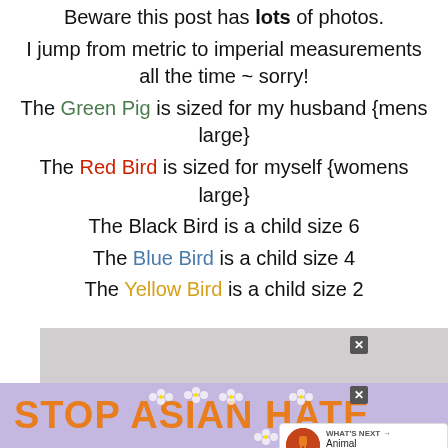Beware this post has lots of photos.
I jump from metric to imperial measurements all the time ~ sorry!
The Green Pig is sized for my husband {mens large}
The Red Bird is sized for myself {womens large}
The Black Bird is a child size 6
The Blue Bird is a child size 4
The Yellow Bird is a child size 2
[Figure (screenshot): Advertisement banner at the bottom reading STOP ASIAN HATE with purple background and flower decorations]